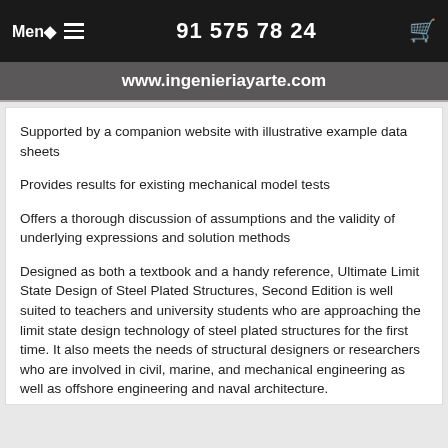Menú ≡   91 575 78 24   🛒
www.ingenieriayarte.com
Supported by a companion website with illustrative example data sheets
Provides results for existing mechanical model tests
Offers a thorough discussion of assumptions and the validity of underlying expressions and solution methods
Designed as both a textbook and a handy reference, Ultimate Limit State Design of Steel Plated Structures, Second Edition is well suited to teachers and university students who are approaching the limit state design technology of steel plated structures for the first time. It also meets the needs of structural designers or researchers who are involved in civil, marine, and mechanical engineering as well as offshore engineering and naval architecture.
Preface
About the Author